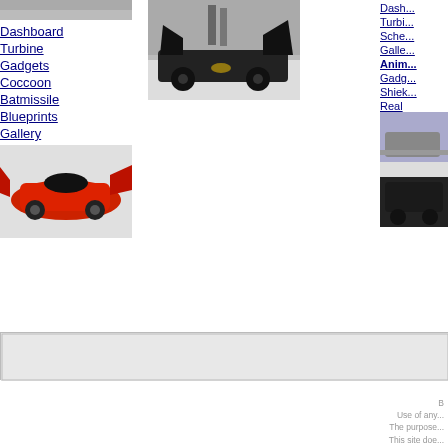[Figure (photo): Partial top image of a Batmobile or similar vehicle, cropped at top]
Dashboard
Turbine
Gadgets
Coccoon
Batmissile
Blueprints
Gallery
[Figure (photo): A black Batmobile-style car parked outdoors near a wall with graffiti]
[Figure (photo): A red toy/model Batmobile-style race car]
Dashboard
Turbine
Sche...
Galle...
Anim...
Gadg...
Shiek...
Real
Galle...
[Figure (photo): Dark car photographed outdoors, partially visible, right column]
B
Use of any...
The purpose...
This site doe...